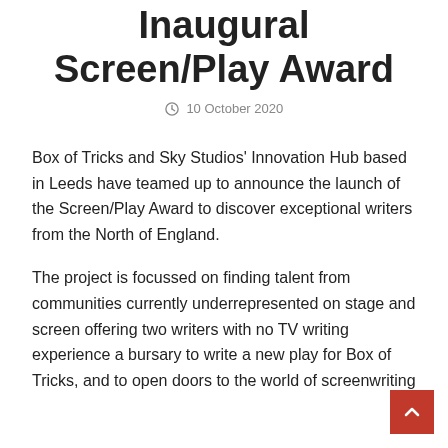Inaugural Screen/Play Award
10 October 2020
Box of Tricks and Sky Studios' Innovation Hub based in Leeds have teamed up to announce the launch of the Screen/Play Award to discover exceptional writers from the North of England.
The project is focussed on finding talent from communities currently underrepresented on stage and screen offering two writers with no TV writing experience a bursary to write a new play for Box of Tricks, and to open doors to the world of screenwriting